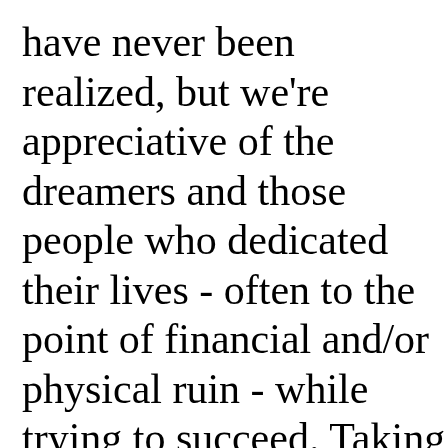have never been realized, but we're appreciative of the dreamers and those people who dedicated their lives - often to the point of financial and/or physical ruin - while trying to succeed. Taking a different approach, Edwin Lawrence, in this 1956 article in Popular Electronics, consider inventing a few "needed inventions" out. Among them death ray that will in